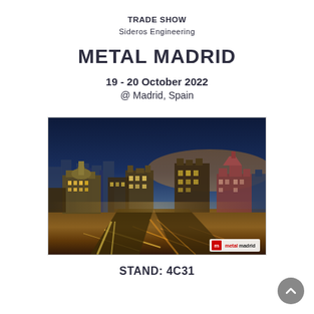TRADE SHOW
Sideros Engineering
METAL MADRID
19 - 20 October 2022
@ Madrid, Spain
[Figure (photo): Aerial night/dusk photograph of Madrid city centre showing illuminated streets and historic buildings including Gran Vía, with warm golden street lighting and the metalmadrid logo watermark in the bottom right corner.]
STAND: 4C31